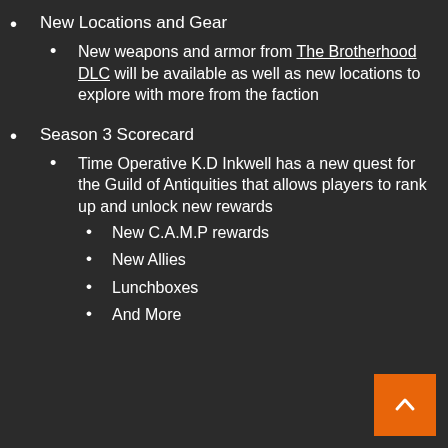New Locations and Gear
New weapons and armor from The Brotherhood DLC will be available as well as new locations to explore with more from the faction
Season 3 Scorecard
Time Operative K.D Inkwell has a new quest for the Guild of Antiquities that allows players to rank up and unlock new rewards
New C.A.M.P rewards
New Allies
Lunchboxes
And More